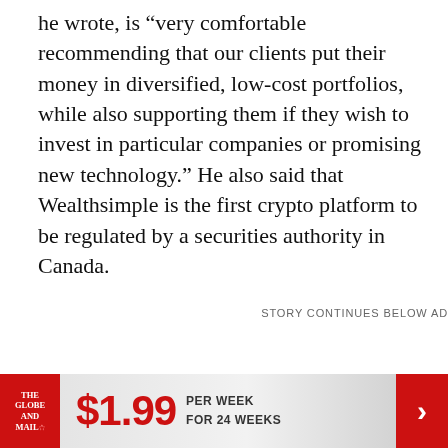he wrote, is “very comfortable recommending that our clients put their money in diversified, low-cost portfolios, while also supporting them if they wish to invest in particular companies or promising new technology.” He also said that Wealthsimple is the first crypto platform to be regulated by a securities authority in Canada.
STORY CONTINUES BELOW AD
[Figure (infographic): Advertisement banner for The Globe and Mail: $1.99 per week for 24 weeks, with red Globe and Mail logo on left and red arrow button on right.]